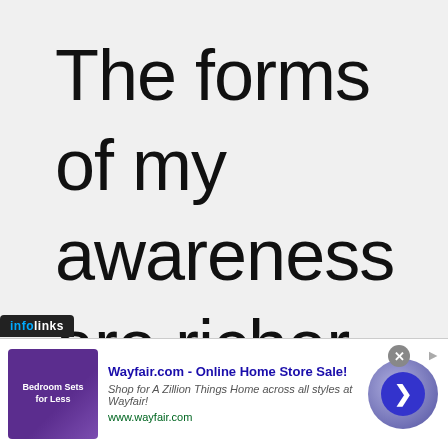The forms of my awareness are richer
[Figure (screenshot): Infolinks advertisement banner for Wayfair.com showing 'Wayfair.com - Online Home Store Sale!' with description 'Shop for A Zillion Things Home across all styles at Wayfair!' and URL www.wayfair.com, with a purple bedroom furniture image on the left and a blue circular arrow button on the right.]